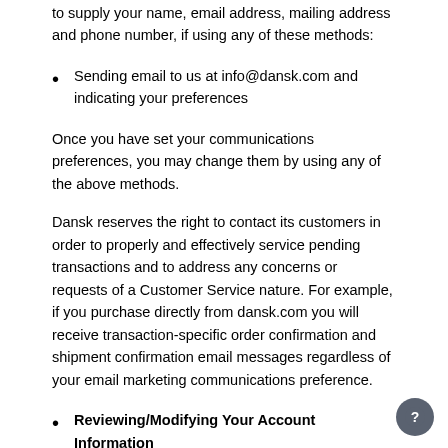to supply your name, email address, mailing address and phone number, if using any of these methods:
Sending email to us at info@dansk.com and indicating your preferences
Once you have set your communications preferences, you may change them by using any of the above methods.
Dansk reserves the right to contact its customers in order to properly and effectively service pending transactions and to address any concerns or requests of a Customer Service nature. For example, if you purchase directly from dansk.com you will receive transaction-specific order confirmation and shipment confirmation email messages regardless of your email marketing communications preference.
Reviewing/Modifying Your Account Information
If you have a free dansk.com account and would like to modify your information, such as your primary billing or mailing